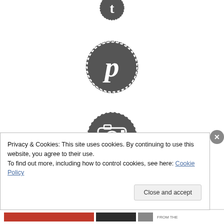[Figure (illustration): Circular dashed-border social media icon: Pinterest (P symbol) in dark gray]
[Figure (illustration): Circular dashed-border social media icon: Instagram/camera icon in dark gray]
[Figure (illustration): Circular dashed-border social media icon: Email/envelope icon in dark gray]
Privacy & Cookies: This site uses cookies. By continuing to use this website, you agree to their use.
To find out more, including how to control cookies, see here: Cookie Policy
Close and accept